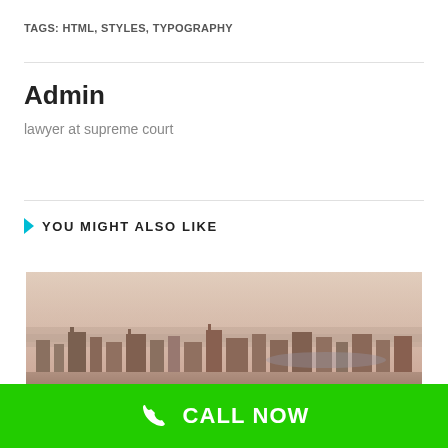TAGS: HTML, STYLES, TYPOGRAPHY
Admin
lawyer at supreme court
YOU MIGHT ALSO LIKE
[Figure (photo): Aerial panoramic cityscape photograph showing a dense urban skyline with buildings and a river or waterway in the background under a hazy sky.]
CALL NOW